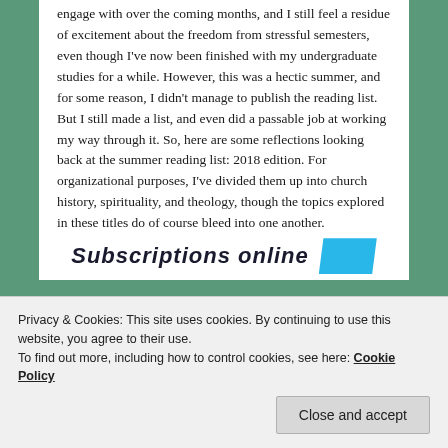engage with over the coming months, and I still feel a residue of excitement about the freedom from stressful semesters, even though I've now been finished with my undergraduate studies for a while. However, this was a hectic summer, and for some reason, I didn't manage to publish the reading list. But I still made a list, and even did a passable job at working my way through it. So, here are some reflections looking back at the summer reading list: 2018 edition. For organizational purposes, I've divided them up into church history, spirituality, and theology, though the topics explored in these titles do of course bleed into one another.
[Figure (other): Partially visible banner with italic bold text 'Subscriptions online' and a cyan parallelogram shape to the right]
Privacy & Cookies: This site uses cookies. By continuing to use this website, you agree to their use.
To find out more, including how to control cookies, see here: Cookie Policy